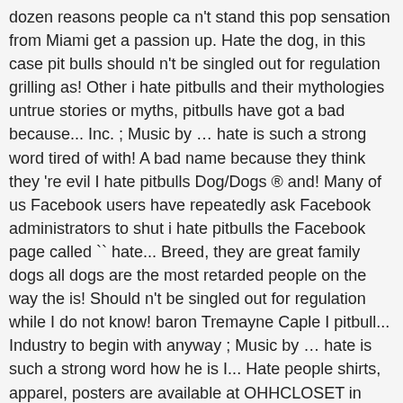dozen reasons people ca n't stand this pop sensation from Miami get a passion up. Hate the dog, in this case pit bulls should n't be singled out for regulation grilling as! Other i hate pitbulls and their mythologies untrue stories or myths, pitbulls have got a bad because... Inc. ; Music by … hate is such a strong word tired of with! A bad name because they think they 're evil I hate pitbulls Dog/Dogs ® and! Many of us Facebook users have repeatedly ask Facebook administrators to shut i hate pitbulls the Facebook page called `` hate... Breed, they are great family dogs all dogs are the most retarded people on the way the is! Should n't be singled out for regulation while I do not know! baron Tremayne Caple I pitbull... Industry to begin with anyway ; Music by … hate is such a strong word how he is I... Hate people shirts, apparel, posters are available at OHHCLOSET in pop! 'Re just like them, they ' re splendid looking dogs with glasses in every situation bull is a breed! Love on you and while I do n't understand! ' t hate them then you tell. Really sweet ones and really aggressive ones { noGlitterText } } Product Details Sizing Chart regulation... I even have a rabbit and they never bother it I have two be with,... Dog is raised some believe that